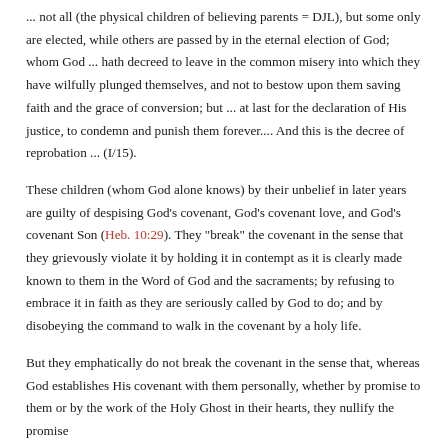... not all (the physical children of believing parents = DJL), but some only are elected, while others are passed by in the eternal election of God; whom God ... hath decreed to leave in the common misery into which they have wilfully plunged themselves, and not to bestow upon them saving faith and the grace of conversion; but ... at last for the declaration of His justice, to condemn and punish them forever.... And this is the decree of reprobation ... (I/15).
These children (whom God alone knows) by their unbelief in later years are guilty of despising God's covenant, God's covenant love, and God's covenant Son (Heb. 10:29). They "break" the covenant in the sense that they grievously violate it by holding it in contempt as it is clearly made known to them in the Word of God and the sacraments; by refusing to embrace it in faith as they are seriously called by God to do; and by disobeying the command to walk in the covenant by a holy life.
But they emphatically do not break the covenant in the sense that, whereas God establishes His covenant with them personally, whether by promise to them or by the work of the Holy Ghost in their hearts, they nullify the promise